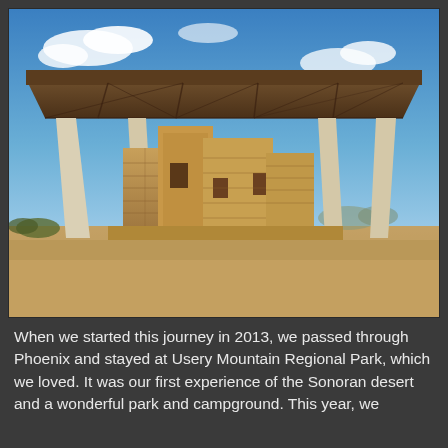[Figure (photo): Photograph of ancient Native American ruins (Casa Grande Ruins National Monument or similar) under a large modern protective metal roof structure supported by white/cream colored columns, set in a Sonoran desert landscape with gravelly ground, blue sky with scattered clouds, and desert vegetation in the background.]
When we started this journey in 2013, we passed through Phoenix and stayed at Usery Mountain Regional Park, which we loved.  It was our first experience of the Sonoran desert and a wonderful park and campground.  This year, we